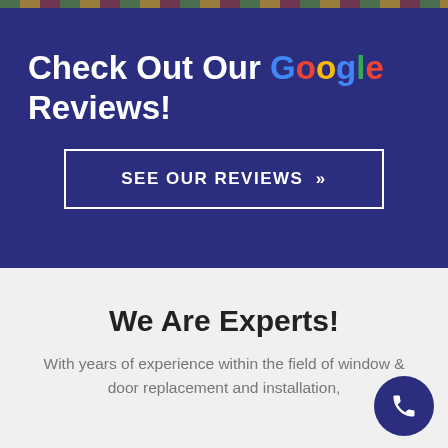Check Out Our Google Reviews!
SEE OUR REVIEWS »
We Are Experts!
With years of experience within the field of window & door replacement and installation,